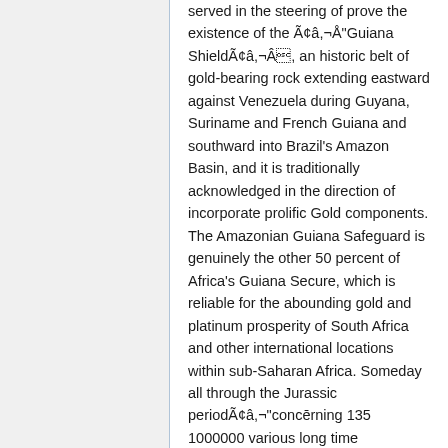served in the steering of prove the existence of the Ã¢â,¬Å"Guiana ShieldÃ¢â,¬Â, an historic belt of gold-bearing rock extending eastward against Venezuela during Guyana, Suriname and French Guiana and southward into Brazil's Amazon Basin, and it is traditionally acknowledged in the direction of incorporate prolific Gold components. The Amazonian Guiana Safeguard is genuinely the other 50 percent of Africa's Guiana Secure, which is reliable for the abounding gold and platinum prosperity of South Africa and other international locations within sub-Saharan Africa. Someday all through the Jurassic periodÃ¢â,¬"concērning 135 1000000 various long time agoÃ¢â,¬"the as soon as full Guiana Safeguard was break into 2 as plate tectonics tore 1 significant land mass into 2. Nowadays